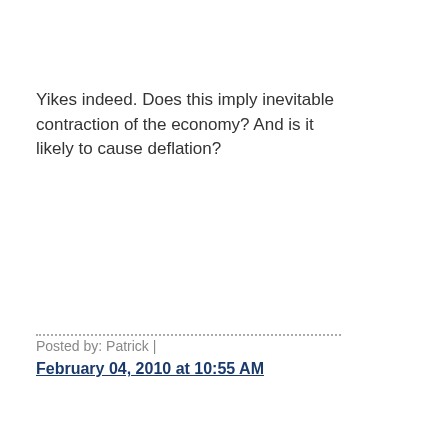Yikes indeed. Does this imply inevitable contraction of the economy? And is it likely to cause deflation?
Posted by: Patrick | February 04, 2010 at 10:55 AM
Good for you on the CBC thing. You've encouraged other academic economists to speak out/make themselves available to the media. How were you successful here, do you believe, in getting you opinions/expertise heard? Your teaching position? This